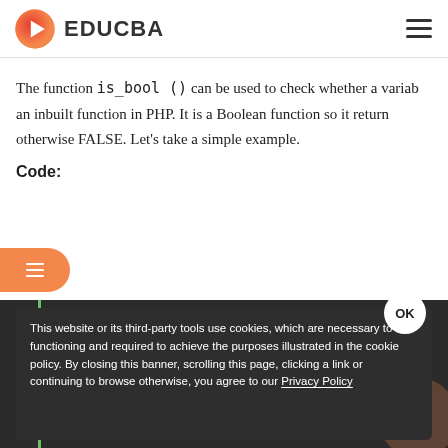EDUCBA
The function is_bool () can be used to check whether a variable is an inbuilt function in PHP. It is a Boolean function so it returns otherwise FALSE. Let's take a simple example.
Code:
This website or its third-party tools use cookies, which are necessary to its functioning and required to achieve the purposes illustrated in the cookie policy. By closing this banner, scrolling this page, clicking a link or continuing to browse otherwise, you agree to our Privacy Policy